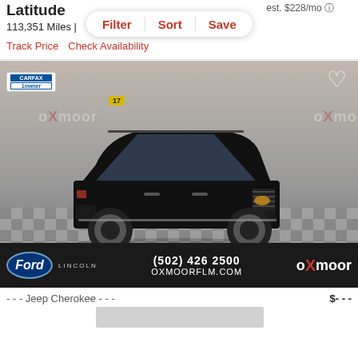Latitude
est. $228/mo
113,351 Miles |
Filter | Sort | Save
Track Price   Check Availability
[Figure (photo): 2017 Jeep Cherokee Latitude black SUV photographed in an Oxmoor dealership showroom with checkered floor. CARFAX 1-Owner badge in top left. Heart/save icon in top right. Dealer banner at bottom shows Ford Lincoln logo, (502) 426 2500, OXMOORFLM.COM, and Oxmoor brand logo.]
(502) 426 2500  OXMOORFLM.COM